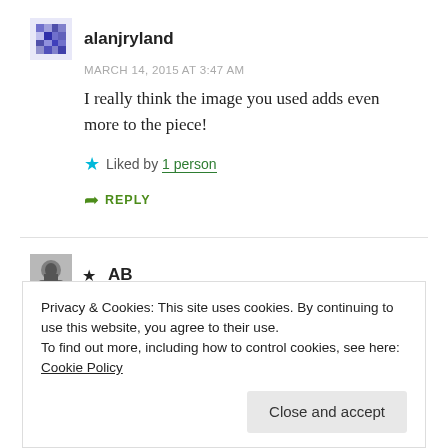alanjryland
MARCH 14, 2015 AT 3:47 AM
I really think the image you used adds even more to the piece!
Liked by 1 person
REPLY
AB
NOVEMBER 1, 2015 AT 1:00 PM
Privacy & Cookies: This site uses cookies. By continuing to use this website, you agree to their use.
To find out more, including how to control cookies, see here: Cookie Policy
Close and accept